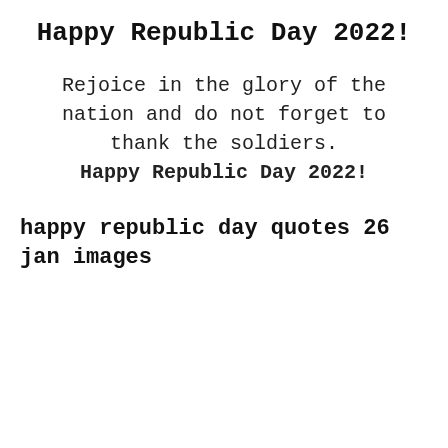Happy Republic Day 2022!
Rejoice in the glory of the nation and do not forget to thank the soldiers.
Happy Republic Day 2022!
happy republic day quotes 26 jan images